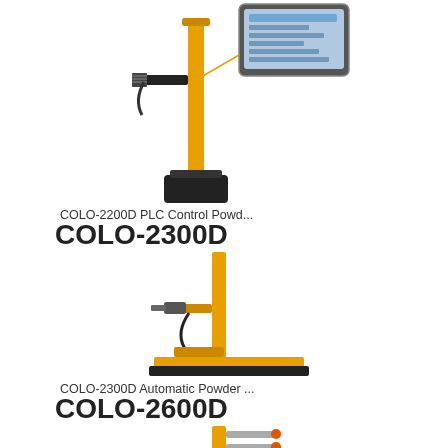[Figure (photo): COLO-2300D PLC Control Powder Coating Machine with yellow vertical column, spray gun arm, black base, and tablet control screen shown in callout]
COLO-2200D PLC Control Powd...
COLO-2300D
[Figure (photo): COLO-2300D Automatic Powder Coating Machine with yellow vertical column, spray gun arm, cable, and orange/black flat base platform]
COLO-2300D Automatic Powder ...
COLO-2600D
[Figure (photo): COLO-2600D Automatic Powder Coating Machine with yellow vertical column and multiple spray guns/nozzles, partially visible at bottom of page]